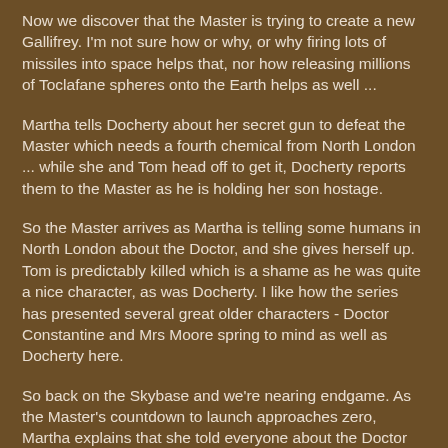Now we discover that the Master is trying to create a new Gallifrey. I'm not sure how or why, or why firing lots of missiles into space helps that, nor how releasing millions of Toclafane spheres onto the Earth helps as well ...
Martha tells Docherty about her secret gun to defeat the Master which needs a fourth chemical from North London ... while she and Tom head off to get it, Docherty reports them to the Master as he is holding her son hostage.
So the Master arrives as Martha is telling some humans in North London about the Doctor, and she gives herself up. Tom is predictably killed which is a shame as he was quite a nice character, as was Docherty. I like how the series has presented several great older characters - Doctor Constantine and Mrs Moore spring to mind as well as Docherty here.
So back on the Skybase and we're nearing endgame. As the Master's countdown to launch approaches zero, Martha explains that she told everyone about the Doctor and asked them to think his name when the countdown reached zero ...